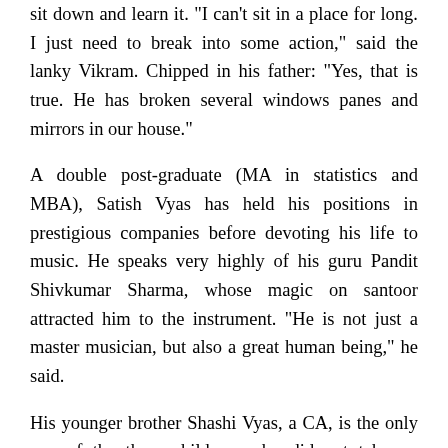sit down and learn it. "I can't sit in a place for long. I just need to break into some action," said the lanky Vikram. Chipped in his father: "Yes, that is true. He has broken several windows panes and mirrors in our house."
A double post-graduate (MA in statistics and MBA), Satish Vyas has held his positions in prestigious companies before devoting his life to music. He speaks very highly of his guru Pandit Shivkumar Sharma, whose magic on santoor attracted him to the instrument. "He is not just a master musician, but also a great human being," he said.
His younger brother Shashi Vyas, a CA, is the only one of the three children, who did not take up music. But a good connoisseur he is and has been doing all he could do to promote music.
He launched Pancham Nishad, to raise funds for CA students in Mumbai and roped in the greatest of musicians to contribute for the cause. "Veteran Hindustani musician Kishori Amonkar was